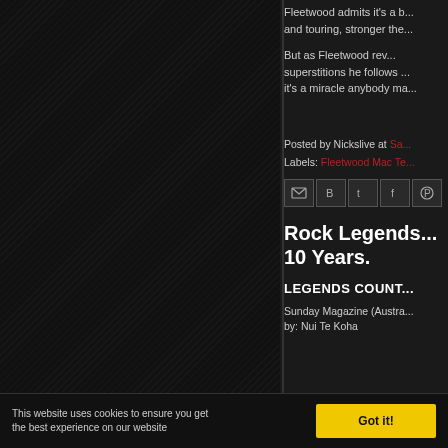[Figure (photo): Dark diagonal-hatched panel on the left side of the page, appears to be a decorative or image placeholder with dark texture]
Fleetwood admits it's a b... and touring, stronger the...
But as Fleetwood rev... superstitions he follows ... it's a miracle anybody ma...
Posted by Nickslive at Sa... Labels: Fleetwood Mac Te...
[Figure (infographic): Row of social share icons: email, blogger, twitter, facebook, pinterest]
Rock Legends... 10 Years.
LEGENDS COUNT...
Sunday Magazine (Austra... by: Nui Te Koha
This website uses cookies to ensure you get the best experience on our website